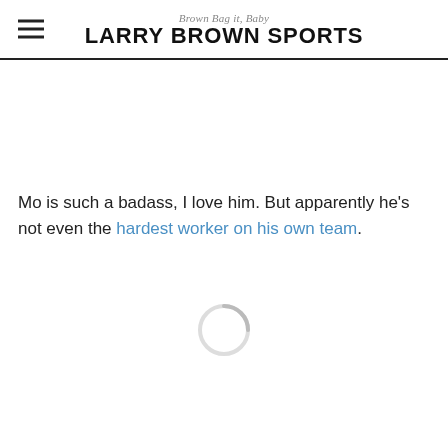Brown Bag it, Baby — LARRY BROWN SPORTS
Mo is such a badass, I love him. But apparently he's not even the hardest worker on his own team.
[Figure (other): Loading spinner / circular progress indicator]